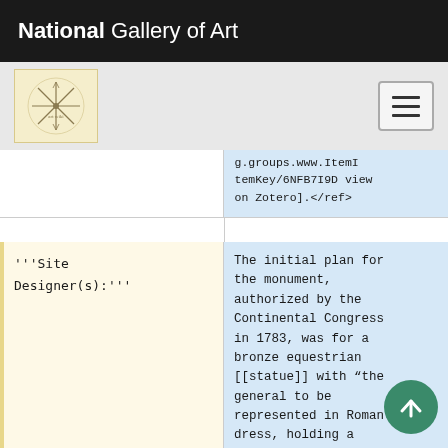National Gallery of Art
[Figure (logo): National Gallery of Art snowflake/asterisk logo in beige box]
g.groups.www.ItemKey/6NFB7I9D view on Zotero].</ref>
'''Site Designer(s):'''
The initial plan for the monument, authorized by the Continental Congress in 1783, was for a bronze equestrian [[statue]] with “the general to be represented in Roman dress, holding a truncheon in his hand.”<ref>Savage 1987, 227.